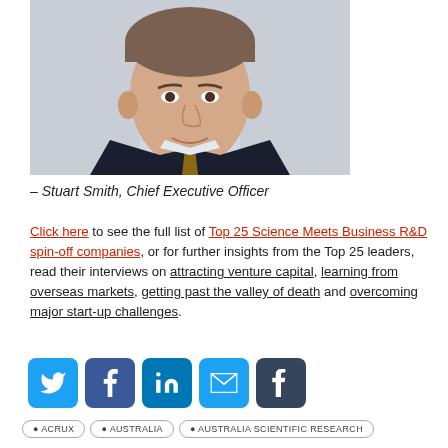[Figure (photo): Headshot of a man in a dark suit and light blue shirt with a tie, cropped at the shoulders, light grey background]
– Stuart Smith, Chief Executive Officer
Click here to see the full list of Top 25 Science Meets Business R&D spin-off companies, or for further insights from the Top 25 leaders, read their interviews on attracting venture capital, learning from overseas markets, getting past the valley of death and overcoming major start-up challenges.
[Figure (infographic): Social media sharing icons: Twitter (blue), Facebook (blue), LinkedIn (blue), Email (blue), Tumblr (dark grey)]
• ACRUX  • AUSTRALIA  • AUSTRALIA SCIENTIFIC RESEARCH